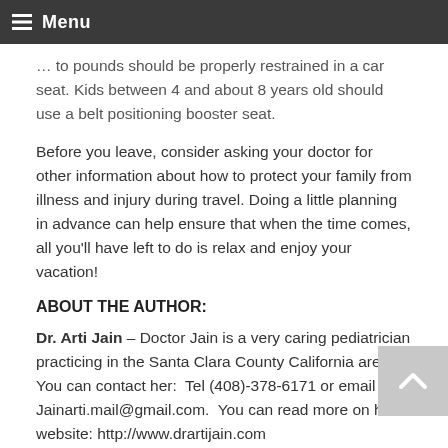Menu
…to pounds should be properly restrained in a car seat. Kids between 4 and about 8 years old should use a belt positioning booster seat.
Before you leave, consider asking your doctor for other information about how to protect your family from illness and injury during travel. Doing a little planning in advance can help ensure that when the time comes, all you'll have left to do is relax and enjoy your vacation!
ABOUT THE AUTHOR:
Dr. Arti Jain – Doctor Jain is a very caring pediatrician practicing in the Santa Clara County California area.  You can contact her:  Tel (408)-378-6171 or email her: Jainarti.mail@gmail.com.  You can read more on her website: http://www.drartijain.com
Scrappy Tip from Kimberly: For more great advice on traveling healthy, check out this site from positive healthwellness…